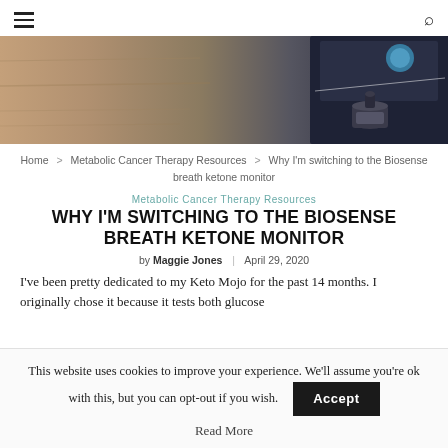≡  🔍
[Figure (photo): Close-up photo of a breath ketone monitor device on a wooden surface, with a dark device visible in the background]
Home > Metabolic Cancer Therapy Resources > Why I'm switching to the Biosense breath ketone monitor
Metabolic Cancer Therapy Resources
WHY I'M SWITCHING TO THE BIOSENSE BREATH KETONE MONITOR
by Maggie Jones | April 29, 2020
I've been pretty dedicated to my Keto Mojo for the past 14 months. I originally chose it because it tests both glucose
This website uses cookies to improve your experience. We'll assume you're ok with this, but you can opt-out if you wish.  Accept
Read More